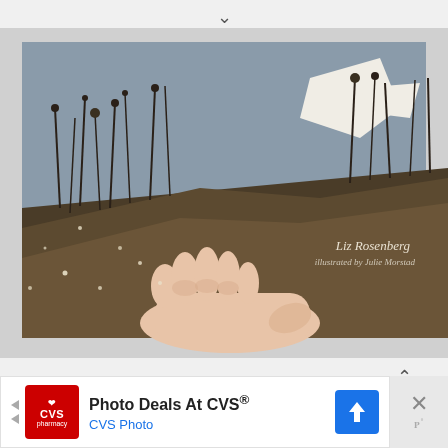[Figure (photo): A hand holding an illustrated children's book open, showing artwork of a meadow scene with tall grasses, flowers, a bird or white figure flying, and a muted earth-tone palette. Text visible: 'Liz Rosenberg' and 'illustrated by Julie Morstad']
[Figure (infographic): Advertisement bar at bottom: CVS Pharmacy logo on red square background, text 'Photo Deals At CVS®' and 'CVS Photo' in blue, blue navigation arrow icon, and a close button with X on grey background.]